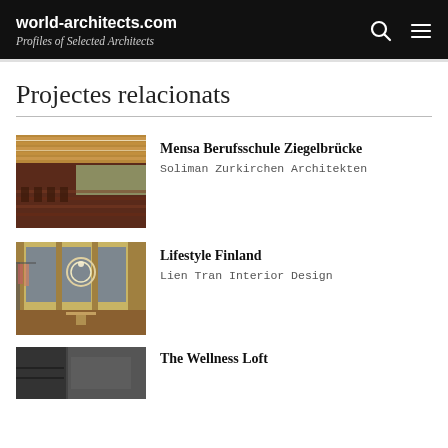world-architects.com — Profiles of Selected Architects
Projectes relacionats
[Figure (photo): Interior of Mensa Berufsschule Ziegelbrücke — dining hall with wooden ceiling slats and rows of chairs]
Mensa Berufsschule Ziegelbrücke
Soliman Zurkirchen Architekten
[Figure (photo): Interior of Lifestyle Finland — boutique store with circular pendant light and clothing racks]
Lifestyle Finland
Lien Tran Interior Design
[Figure (photo): Partial view of The Wellness Loft — dark minimal interior]
The Wellness Loft